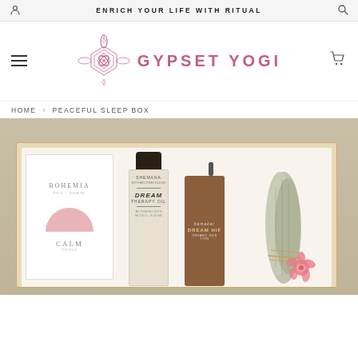ENRICH YOUR LIFE WITH RITUAL
[Figure (logo): Gypset Yogi logo — geometric mandala flower in pink with text GYPSET YOGI]
HOME › PEACEFUL SLEEP BOX
[Figure (photo): Product photo of Peaceful Sleep Box — open kraft box containing Bohemia Tea + Tonic Calm box, Shemana Dream Therapy Oil bottle, Hamaker Dream Drop spray bottle, and white sage smudge stick with pink dried flower]